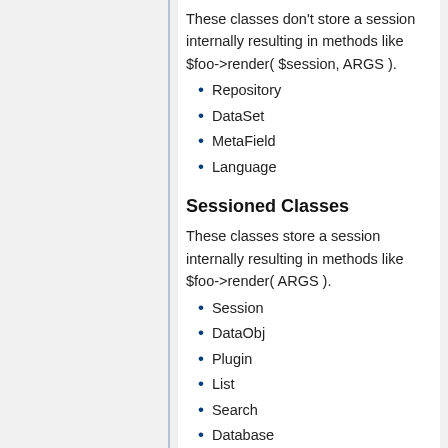These classes don't store a session internally resulting in methods like $foo->render( $session, ARGS ).
Repository
DataSet
MetaField
Language
Sessioned Classes
These classes store a session internally resulting in methods like $foo->render( ARGS ).
Session
DataObj
Plugin
List
Search
Database
Workflow